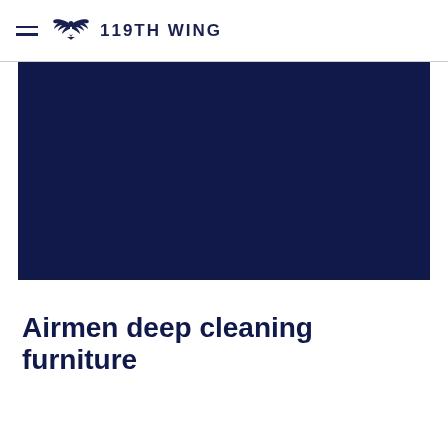119TH WING
[Figure (photo): Dark navy blue rectangle representing a hero image placeholder for the 119th Wing article about Airmen deep cleaning furniture]
Airmen deep cleaning furniture